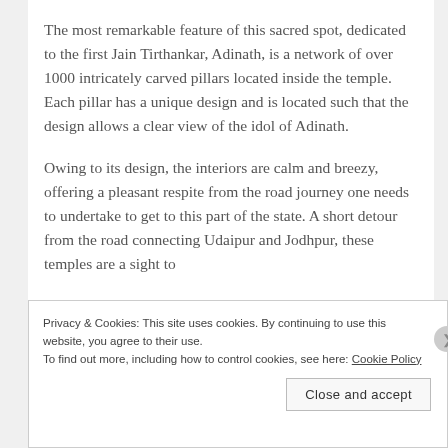The most remarkable feature of this sacred spot, dedicated to the first Jain Tirthankar, Adinath, is a network of over 1000 intricately carved pillars located inside the temple. Each pillar has a unique design and is located such that the design allows a clear view of the idol of Adinath.
Owing to its design, the interiors are calm and breezy, offering a pleasant respite from the road journey one needs to undertake to get to this part of the state. A short detour from the road connecting Udaipur and Jodhpur, these temples are a sight to
Privacy & Cookies: This site uses cookies. By continuing to use this website, you agree to their use.
To find out more, including how to control cookies, see here: Cookie Policy
Close and accept